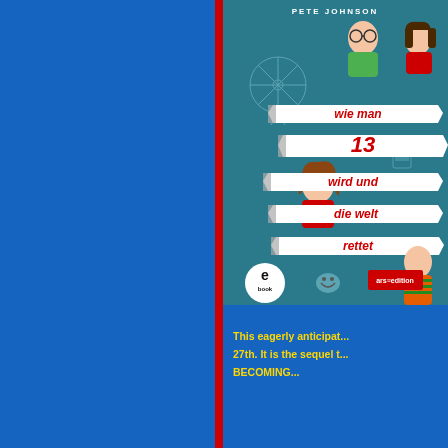[Figure (illustration): Book cover of 'wie man 13 wird und die welt rettet' by Pete Johnson, published by ars edition. Shows cartoon children characters with a ferris wheel illustration and torn paper banner style title. Ebook badge and ars edition logo visible at bottom.]
This eagerly anticipat... 27th. It is the sequel t... BECOMING...